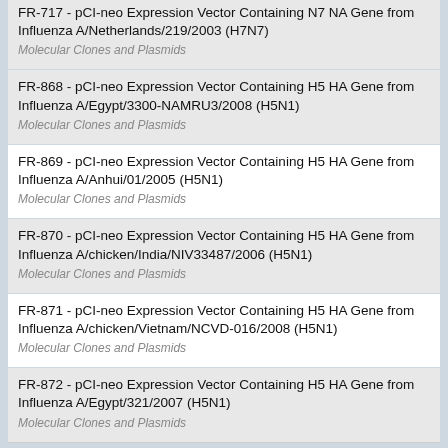FR-717 - pCI-neo Expression Vector Containing N7 NA Gene from Influenza A/Netherlands/219/2003 (H7N7)
Molecular Clones and Plasmids
FR-868 - pCI-neo Expression Vector Containing H5 HA Gene from Influenza A/Egypt/3300-NAMRU3/2008 (H5N1)
Molecular Clones and Plasmids
FR-869 - pCI-neo Expression Vector Containing H5 HA Gene from Influenza A/Anhui/01/2005 (H5N1)
Molecular Clones and Plasmids
FR-870 - pCI-neo Expression Vector Containing H5 HA Gene from Influenza A/chicken/India/NIV33487/2006 (H5N1)
Molecular Clones and Plasmids
FR-871 - pCI-neo Expression Vector Containing H5 HA Gene from Influenza A/chicken/Vietnam/NCVD-016/2008 (H5N1)
Molecular Clones and Plasmids
FR-872 - pCI-neo Expression Vector Containing H5 HA Gene from Influenza A/Egypt/321/2007 (H5N1)
Molecular Clones and Plasmids
Showing 1 to 12 of 12 Results